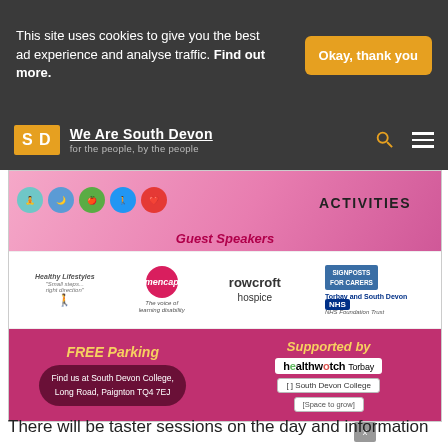This site uses cookies to give you the best ad experience and analyse traffic. Find out more.
Okay, thank you
[Figure (logo): We Are South Devon logo with SD initials and tagline 'for the people, by the people']
[Figure (screenshot): Event flyer showing activities icons, Guest Speakers section, organization logos (Healthy Lifestyles, mencap, rowcroft hospice, Signposts for Carers, Torbay and South Devon NHS Foundation Trust), FREE Parking info, address at South Devon College, Healthwatch Torbay and South Devon College supporter logos]
There will be taster sessions on the day and information